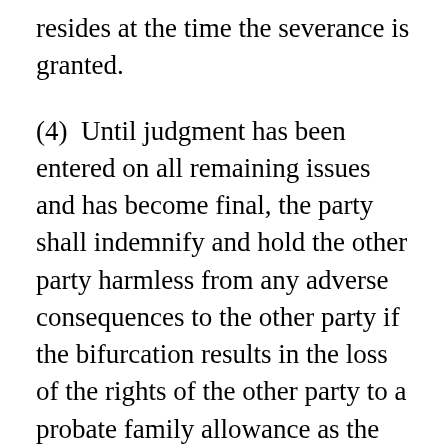resides at the time the severance is granted.
(4)  Until judgment has been entered on all remaining issues and has become final, the party shall indemnify and hold the other party harmless from any adverse consequences to the other party if the bifurcation results in the loss of the rights of the other party to a probate family allowance as the surviving spouse of the party.